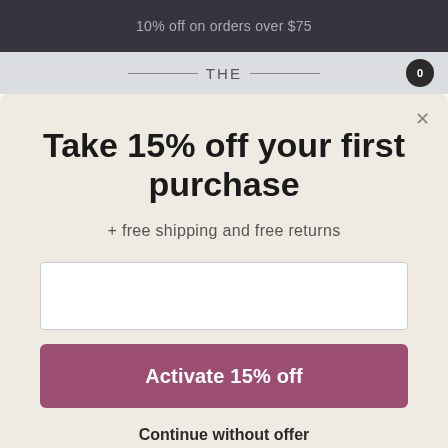10% off on orders over $75
THE
Take 15% off your first purchase
+ free shipping and free returns
Activate 15% off
Continue without offer